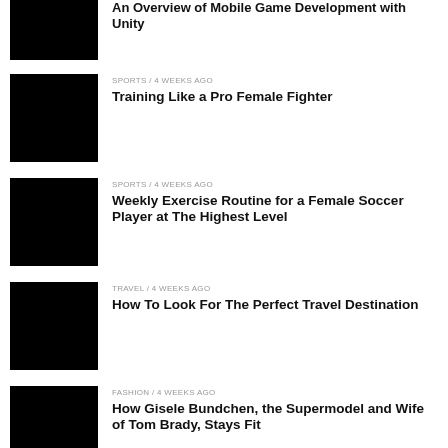[Figure (photo): Black thumbnail image for Unity article (partially visible at top)]
An Overview of Mobile Game Development with Unity
[Figure (photo): Black thumbnail image for Training Like a Pro Female Fighter]
SPORTS / 4 weeks ago
Training Like a Pro Female Fighter
[Figure (photo): Black thumbnail image for Weekly Exercise Routine article]
SPORTS / 4 weeks ago
Weekly Exercise Routine for a Female Soccer Player at The Highest Level
[Figure (photo): Black thumbnail image for Travel Destination article]
TRAVEL / 4 weeks ago
How To Look For The Perfect Travel Destination
[Figure (photo): Black thumbnail image for Gisele Bundchen article]
FASHION / 4 weeks ago
How Gisele Bundchen, the Supermodel and Wife of Tom Brady, Stays Fit
[Figure (photo): Black thumbnail image for last article (partially visible)]
SPORTS / 4 weeks ago